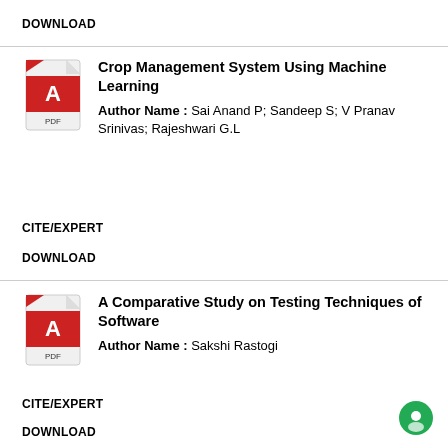DOWNLOAD
Crop Management System Using Machine Learning
Author Name : Sai Anand P; Sandeep S; V Pranav Srinivas; Rajeshwari G.L
CITE/EXPERT
DOWNLOAD
A Comparative Study on Testing Techniques of Software
Author Name : Sakshi Rastogi
CITE/EXPERT
DOWNLOAD